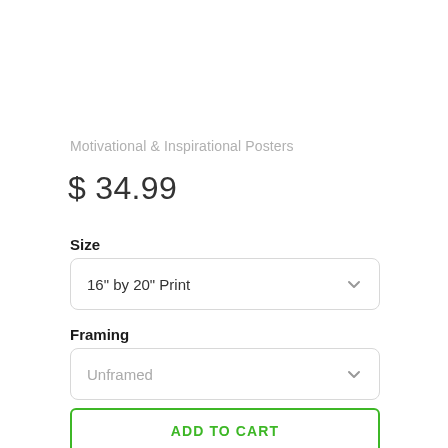Motivational & Inspirational Posters
$ 34.99
Size
16" by 20" Print
Framing
Unframed
ADD TO CART